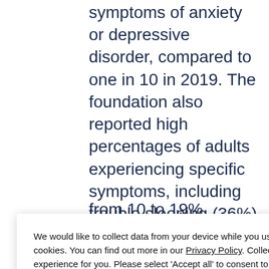symptoms of anxiety or depressive disorder, compared to one in 10 in 2019. The foundation also reported high percentages of adults experiencing specific symptoms, including trouble sleeping (36%) and an increase in alcohol
[Figure (screenshot): Cookie consent overlay popup with text: 'We would like to collect data from your device while you use this website. We do this using cookies. You can find out more in our Privacy Policy. Collecting this data helps us provide the best experience for you. Please select Accept all to consent to us collecting your data in this way. To see other data collection options, select Manage cookies.' with two buttons: 'Manage cookies' and 'Accept all']
from 10 to 19% between 2019 and 2020.